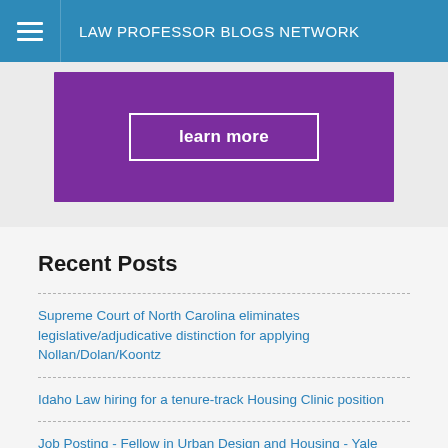LAW PROFESSOR BLOGS NETWORK
[Figure (other): Purple promotional banner with 'learn more' button]
Recent Posts
Supreme Court of North Carolina eliminates legislative/adjudicative distinction for applying Nollan/Dolan/Koontz
Idaho Law hiring for a tenure-track Housing Clinic position
Job Posting - Fellow in Urban Design and Housing - Yale Urban Design Workshop
Prospects for a Unified Approach to Housing Affordability, Housing Equity, and Climate Change